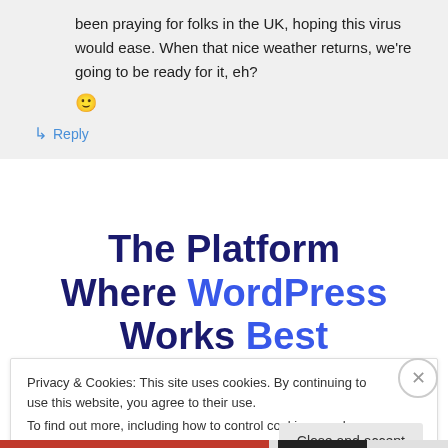been praying for folks in the UK, hoping this virus would ease. When that nice weather returns, we're going to be ready for it, eh? 🙂
↳ Reply
The Platform Where WordPress Works Best
Privacy & Cookies: This site uses cookies. By continuing to use this website, you agree to their use. To find out more, including how to control cookies, see here: Cookie Policy
Close and accept